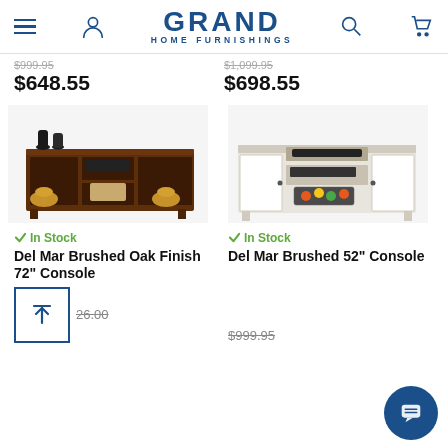Grand Home Furnishings
$999.95 $648.55 | $1,099.95 $698.55
[Figure (photo): Dark brown wood TV console with open shelving, decorative items on top including dark figurines and gold accent bowls]
[Figure (photo): White painted TV console with center open shelving and two side doors, decorative fruit basket inside]
✓ In Stock
Del Mar Brushed Oak Finish 72" Console
✓ In Stock
Del Mar Brushed 52" Console
$999.95